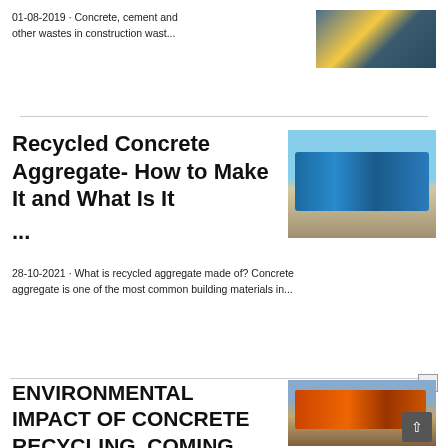01-08-2019 · Concrete, cement and other wastes in construction wast...
[Figure (photo): Industrial facility with yellow crane structures]
Recycled Concrete Aggregate- How to Make It and What Is It ...
[Figure (photo): Blue mobile concrete crusher/aggregate machine outdoors on gravel under blue sky]
28-10-2021 · What is recycled aggregate made of? Concrete aggregate is one of the most common building materials in...
[Figure (photo): Small broken image icon]
ENVIRONMENTAL IMPACT OF CONCRETE RECYCLING, COMING
[Figure (photo): Orange and blue recycling/industrial machinery at a recycling site]